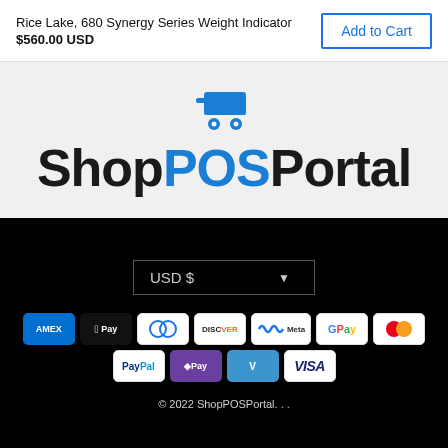Rice Lake, 680 Synergy Series Weight Indicator
$560.00 USD
Add to Cart
[Figure (logo): ShopPOSPortal logo with blue shopping cart icon above text. 'Shop' and 'Portal' in dark/black bold font, 'POS' in blue bold font.]
USD $
[Figure (infographic): Payment method badges: American Express (AMEX), Apple Pay, Diners Club, Discover, Meta Pay, Google Pay, Mastercard, PayPal, OPay, Venmo, Visa]
© 2022 ShopPOSPortal. . .